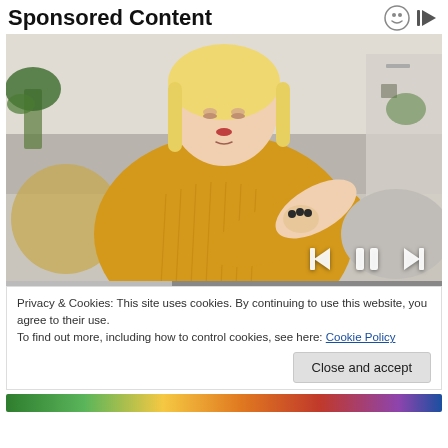Sponsored Content
[Figure (photo): A blonde woman in a yellow knit sweater sitting on a couch, examining or scratching her elbow/forearm, looking concerned. Background shows a living room with plants and grey sofa cushions. Media player controls (skip back, pause, skip forward) are overlaid at bottom right.]
Privacy & Cookies: This site uses cookies. By continuing to use this website, you agree to their use.
To find out more, including how to control cookies, see here: Cookie Policy
Close and accept